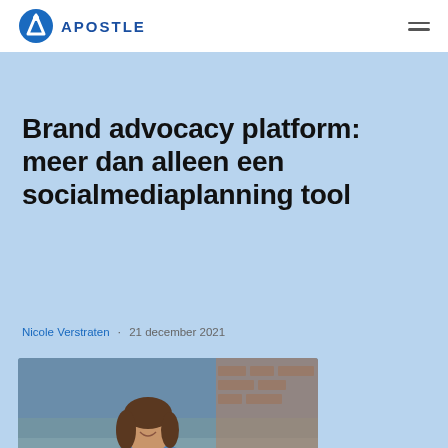APOSTLE
Brand advocacy platform: meer dan alleen een socialmediaplanning tool
Nicole Verstraten · 21 december 2021
[Figure (photo): Woman in blue sweater smiling at her smartphone, holding a book, in a café setting]